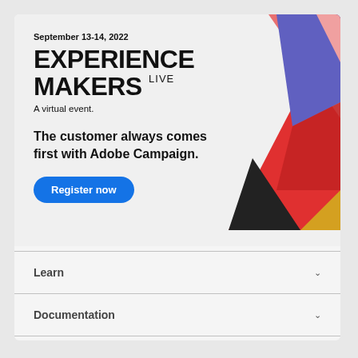September 13-14, 2022
EXPERIENCE MAKERS LIVE
A virtual event.
The customer always comes first with Adobe Campaign.
Register now
[Figure (illustration): Colorful geometric abstract shapes – overlapping triangular panels in red, blue, pink, yellow, and black forming a decorative corner graphic]
Learn
Documentation